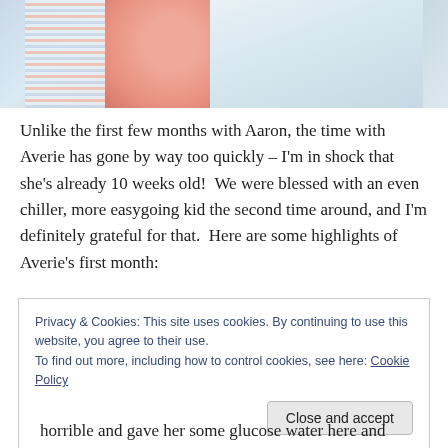[Figure (photo): Close-up photo of a newborn baby wrapped in a pink and blue striped blanket with pink and light blue background]
Unlike the first few months with Aaron, the time with Averie has gone by way too quickly – I'm in shock that she's already 10 weeks old!  We were blessed with an even chiller, more easygoing kid the second time around, and I'm definitely grateful for that.  Here are some highlights of Averie's first month:
Privacy & Cookies: This site uses cookies. By continuing to use this website, you agree to their use.
To find out more, including how to control cookies, see here: Cookie Policy
[Close and accept]
horrible and gave her some glucose water here and